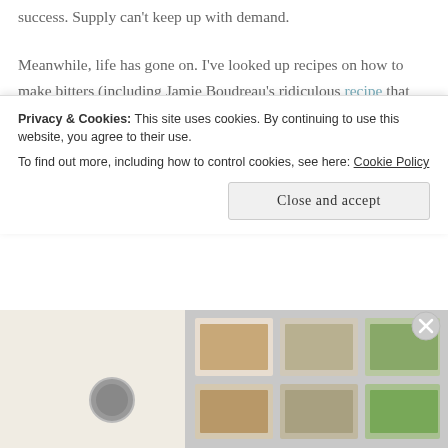success. Supply can't keep up with demand.
Meanwhile, life has gone on. I've looked up recipes on how to make bitters (including Jamie Boudreau's ridiculous recipe that makes over 5 liters of the stuff), but the time was never right. And then a couple of weeks ago, the snow fell. And fell. And fell. School was cancelled for a week. Our one significant outing took us by a liquor store that had one bottle of Everclear, and I bought it.
[Figure (photo): Food blog advertisement image with cream background, circular logo, and food photographs (dishes/meals) arranged on the right side]
Privacy & Cookies: This site uses cookies. By continuing to use this website, you agree to their use.
To find out more, including how to control cookies, see here: Cookie Policy
Close and accept